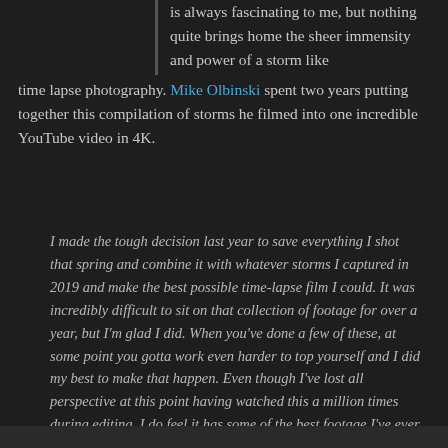is always fascinating to me, but nothing quite brings home the sheer immensity and power of a storm like time lapse photography. Mike Olbinski spent two years putting together this compilation of storms he filmed into one incredible YouTube video in 4K.
I made the tough decision last year to save everything I shot that spring and combine it with whatever storms I captured in 2019 and make the best possible time-lapse film I could. It was incredibly difficult to sit on that collection of footage for over a year, but I'm glad I did. When you've done a few of these, at some point you gotta work even harder to top yourself and I did my best to make that happen. Even though I've lost all perspective at this point having watched this a million times during editing, I do feel it has some of the best footage I've ever compiled into one of these films. I had such a high bar set and many, many clips did not make the cut.